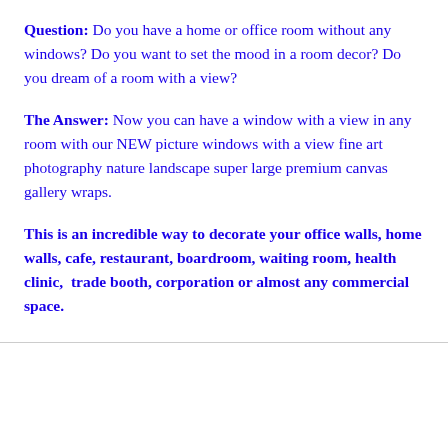Question: Do you have a home or office room without any windows? Do you want to set the mood in a room decor? Do you dream of a room with a view?
The Answer: Now you can have a window with a view in any room with our NEW picture windows with a view fine art photography nature landscape super large premium canvas gallery wraps.
This is an incredible way to decorate your office walls, home walls, cafe, restaurant, boardroom, waiting room, health clinic,  trade booth, corporation or almost any commercial space.